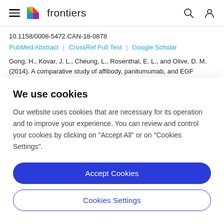frontiers
10.1158/0008-5472.CAN-18-0878
PubMed Abstract | CrossRef Full Text | Google Scholar
Gong, H., Kovar, J. L., Cheung, L., Rosenthal, E. L., and Olive, D. M. (2014). A comparative study of affibody, panitumumab, and EGF
We use cookies
Our website uses cookies that are necessary for its operation and to improve your experience. You can review and control your cookies by clicking on "Accept All" or on "Cookies Settings".
Accept Cookies
Cookies Settings